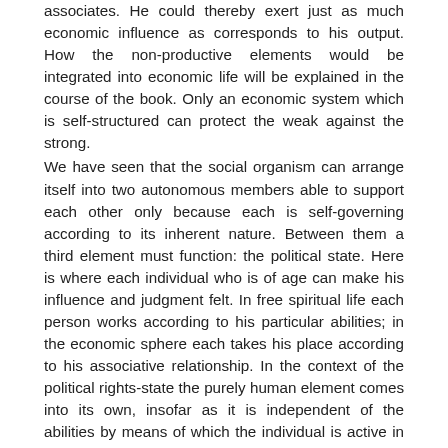associates. He could thereby exert just as much economic influence as corresponds to his output. How the non-productive elements would be integrated into economic life will be explained in the course of the book. Only an economic system which is self-structured can protect the weak against the strong. We have seen that the social organism can arrange itself into two autonomous members able to support each other only because each is self-governing according to its inherent nature. Between them a third element must function: the political state. Here is where each individual who is of age can make his influence and judgment felt. In free spiritual life each person works according to his particular abilities; in the economic sphere each takes his place according to his associative relationship. In the context of the political rights-state the purely human element comes into its own, insofar as it is independent of the abilities by means of which the individual is active in spiritual life, and independent of the